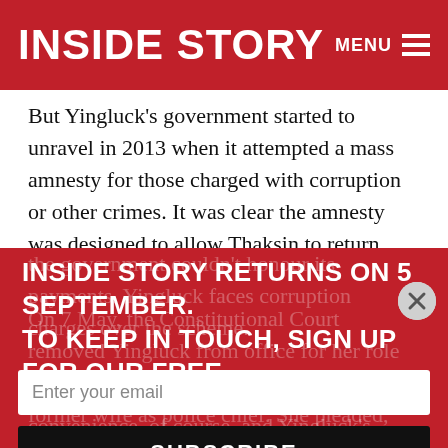INSIDE STORY  MENU
But Yingluck's government started to unravel in 2013 when it attempted a mass amnesty for those charged with corruption or other crimes. It was clear the amnesty was designed to allow Thaksin to return from exile. Opposition to the government surged, further fuelled by the failure of a populist rice-subsidy scheme that not only provided opportunities for corruption but also proved so costly that the government couldn't honour its payments. Yingluck faces corruption charges over the scheme.
INSIDE STORY RETURNS ON 5 SEPTEMBER. TO KEEP IN TOUCH, SIGN UP FOR OUR FREE NEWSLETTER...
On 7 May, the Constitutional Court removed Yingluck from office for her role in trying to install the brother of Thaksin's former wife as police chief. She pleaded, disingenuously,
Enter your email
SUBSCRIBE